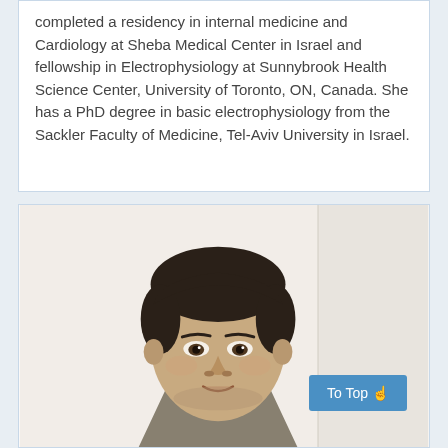completed a residency in internal medicine and Cardiology at Sheba Medical Center in Israel and fellowship in Electrophysiology at Sunnybrook Health Science Center, University of Toronto, ON, Canada. She has a PhD degree in basic electrophysiology from the Sackler Faculty of Medicine, Tel-Aviv University in Israel.
[Figure (photo): Headshot photo of a middle-aged man with dark hair, wearing a grey suit jacket with white shirt, smiling slightly, against a white/light background.]